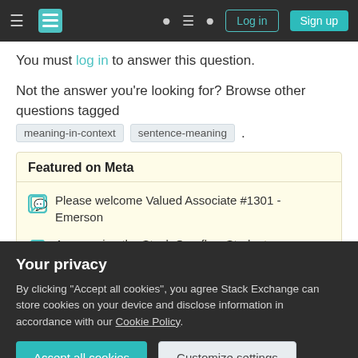Stack Exchange navigation bar with hamburger menu, logo, help, chat, search icons, Log in and Sign up buttons
You must log in to answer this question.
Not the answer you're looking for? Browse other questions tagged meaning-in-context sentence-meaning .
Featured on Meta
Please welcome Valued Associate #1301 - Emerson
Announcing the Stack Overflow Student Ambassador Program
2022 Community Moderator Election Results
Your privacy
By clicking "Accept all cookies", you agree Stack Exchange can store cookies on your device and disclose information in accordance with our Cookie Policy.
Accept all cookies   Customize settings
What does "go" here mean?